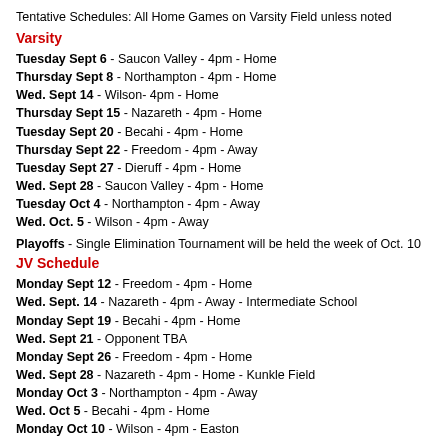Tentative Schedules: All Home Games on Varsity Field unless noted
Varsity
Tuesday Sept 6 - Saucon Valley - 4pm - Home
Thursday Sept 8 - Northampton - 4pm - Home
Wed. Sept 14 - Wilson- 4pm - Home
Thursday Sept 15 - Nazareth - 4pm - Home
Tuesday Sept 20 - Becahi - 4pm - Home
Thursday Sept 22 - Freedom - 4pm - Away
Tuesday Sept 27 - Dieruff - 4pm - Home
Wed. Sept 28 - Saucon Valley - 4pm - Home
Tuesday Oct 4 - Northampton - 4pm - Away
Wed. Oct. 5 - Wilson - 4pm - Away
Playoffs - Single Elimination Tournament will be held the week of Oct. 10
JV Schedule
Monday Sept 12 - Freedom - 4pm - Home
Wed. Sept. 14 - Nazareth - 4pm - Away - Intermediate School
Monday Sept 19 - Becahi - 4pm - Home
Wed. Sept 21 - Opponent TBA
Monday Sept 26 - Freedom - 4pm - Home
Wed. Sept 28 - Nazareth - 4pm - Home - Kunkle Field
Monday Oct 3 - Northampton - 4pm - Away
Wed. Oct 5 - Becahi - 4pm - Home
Monday Oct 10 - Wilson - 4pm - Easton